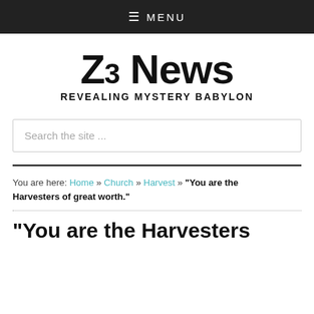≡ MENU
Z3 News REVEALING MYSTERY BABYLON
Search the site ...
You are here: Home » Church » Harvest » "You are the Harvesters of great worth."
"You are the Harvesters